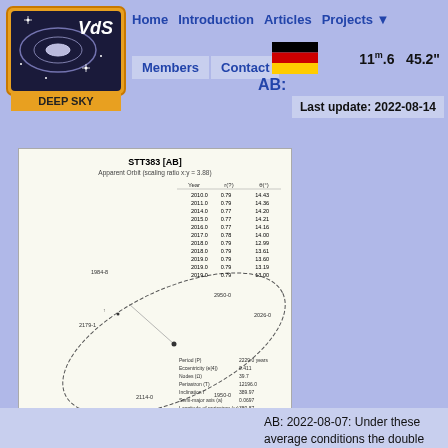[Figure (logo): VdS Deep Sky logo with galaxy illustration and orange/gold border]
Home  Introduction  Articles  Projects ▼  Members  Contact
11m.6   45.2"
Last update: 2022-08-14
AB:
[Figure (other): STT383 [AB] Apparent Orbit diagram with elliptical orbit curve, labeled years (1984-8, 2950-0, 2010-2, etc.), and data table with orbital elements. Title: STT383 [AB], Subtitle: Apparent Orbit (scaling ratio x:y = 3.88). Table columns: Year, r(?), θ(°). Orbital parameters listed below: Period(P), Eccentricity(e[4]), Nodes(Ω), Periastron(T), Inclination i, Semi-major axis(a[6]), Longitude of periastron(ω), Grade. Data source of orbital elements: http://www.astro.gsu.edu/wds/orb6.html]
AB: 2022-08-07: Under these average conditions the double star is well visible as such. The fainter companion appears